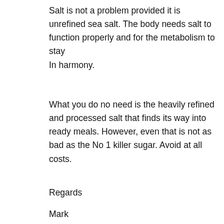Salt is not a problem provided it is unrefined sea salt. The body needs salt to function properly and for the metabolism to stay
In harmony.
What you do no need is the heavily refined and processed salt that finds its way into ready meals. However, even that is not as bad as the No 1 killer sugar. Avoid at all costs.
Regards
Mark